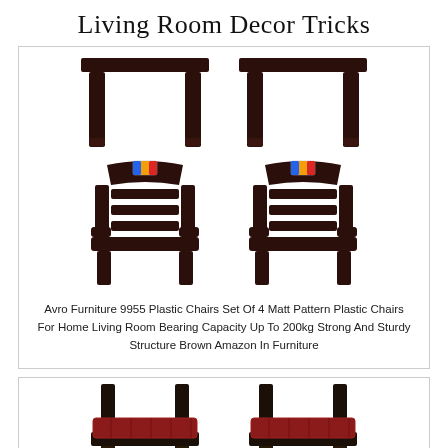Living Room Decor Tricks
[Figure (photo): Product image of Avro Furniture plastic chairs set - two dark brown plastic tables and two dark brown plastic chairs with horizontal slat backs and armrests, shown from the rear]
Avro Furniture 9955 Plastic Chairs Set Of 4 Matt Pattern Plastic Chairs For Home Living Room Bearing Capacity Up To 200kg Strong And Sturdy Structure Brown Amazon In Furniture
[Figure (photo): Product image of dark chairs with red cushioned seats, shown from a rear/side angle, with a red CLOSE button overlay at the bottom center]